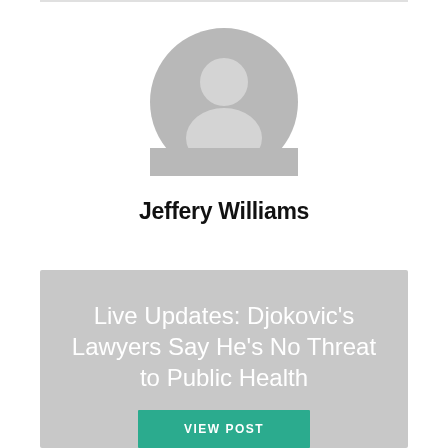[Figure (illustration): Generic grey user avatar icon — a circle with a person silhouette]
Jeffery Williams
Live Updates: Djokovic's Lawyers Say He's No Threat to Public Health
JEFFERY WILLIAMS  ·  JANUARY 16, 2022
VIEW POST